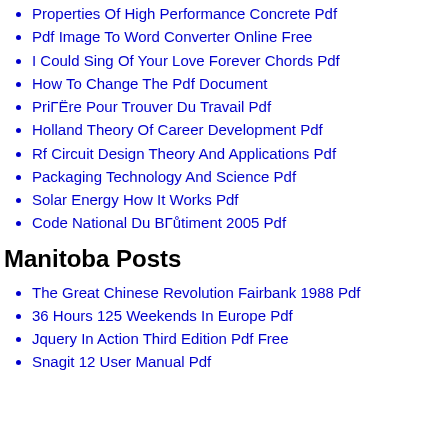Properties Of High Performance Concrete Pdf
Pdf Image To Word Converter Online Free
I Could Sing Of Your Love Forever Chords Pdf
How To Change The Pdf Document
PriГЁre Pour Trouver Du Travail Pdf
Holland Theory Of Career Development Pdf
Rf Circuit Design Theory And Applications Pdf
Packaging Technology And Science Pdf
Solar Energy How It Works Pdf
Code National Du BГůtiment 2005 Pdf
Manitoba Posts
The Great Chinese Revolution Fairbank 1988 Pdf
36 Hours 125 Weekends In Europe Pdf
Jquery In Action Third Edition Pdf Free
Snagit 12 User Manual Pdf